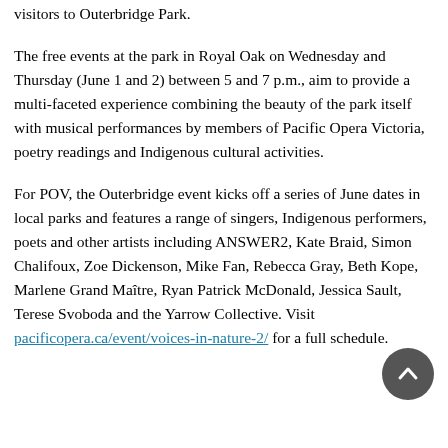visitors to Outerbridge Park.
The free events at the park in Royal Oak on Wednesday and Thursday (June 1 and 2) between 5 and 7 p.m., aim to provide a multi-faceted experience combining the beauty of the park itself with musical performances by members of Pacific Opera Victoria, poetry readings and Indigenous cultural activities.
For POV, the Outerbridge event kicks off a series of June dates in local parks and features a range of singers, Indigenous performers, poets and other artists including ANSWER2, Kate Braid, Simon Chalifoux, Zoe Dickenson, Mike Fan, Rebecca Gray, Beth Kope, Marlene Grand Maître, Ryan Patrick McDonald, Jessica Sault, Terese Svoboda and the Yarrow Collective. Visit pacificopera.ca/event/voices-in-nature-2/ for a full schedule.